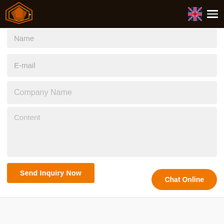[Figure (logo): Orange and gold geometric logo with stylized V shape on dark background header]
Name
E-mail
Company Name
Content
Send Inquiry Now
Chat Online